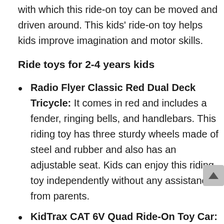with which this ride-on toy can be moved and driven around. This kids' ride-on toy helps kids improve imagination and motor skills.
Ride toys for 2-4 years kids
Radio Flyer Classic Red Dual Deck Tricycle: It comes in red and includes a fender, ringing bells, and handlebars. This riding toy has three sturdy wheels made of steel and rubber and also has an adjustable seat. Kids can enjoy this riding toy independently without any assistance from parents.
KidTrax CAT 6V Quad Ride-On Toy Car: It requires a 6-volt rechargeable battery. It has four wheels which are comfortable to ride and keep